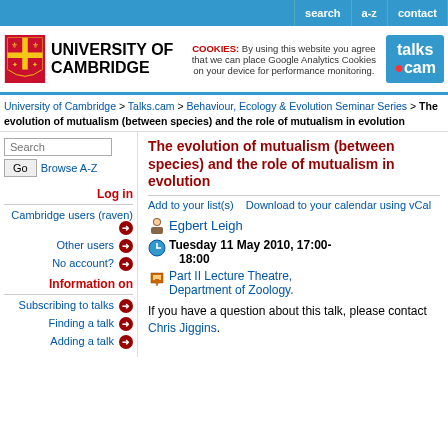search | a-z | contact
[Figure (logo): University of Cambridge logo with shield and text, cookie notice, and talks.cam logo]
University of Cambridge > Talks.cam > Behaviour, Ecology & Evolution Seminar Series > The evolution of mutualism (between species) and the role of mutualism in evolution
The evolution of mutualism (between species) and the role of mutualism in evolution
Add to your list(s)    Download to your calendar using vCal
Egbert Leigh
Tuesday 11 May 2010, 17:00-18:00
Part II Lecture Theatre, Department of Zoology.
If you have a question about this talk, please contact Chris Jiggins.